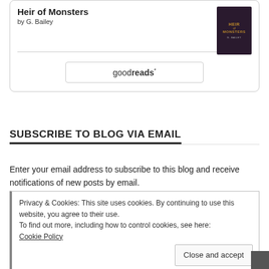[Figure (other): Goodreads book widget showing 'Heir of Monsters by G. Bailey' with book cover image and Goodreads button]
SUBSCRIBE TO BLOG VIA EMAIL
Enter your email address to subscribe to this blog and receive notifications of new posts by email.
Privacy & Cookies: This site uses cookies. By continuing to use this website, you agree to their use.
To find out more, including how to control cookies, see here:
Cookie Policy
Close and accept